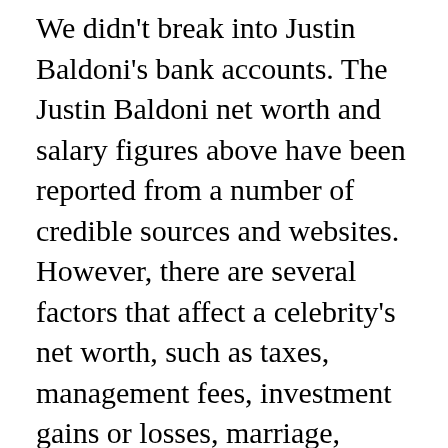We didn't break into Justin Baldoni's bank accounts. The Justin Baldoni net worth and salary figures above have been reported from a number of credible sources and websites. However, there are several factors that affect a celebrity's net worth, such as taxes, management fees, investment gains or losses, marriage, divorce, etc.
Therefore, the above worth, income or earnings statistics may not be 100% accurate. We respect other people's privacy, so please don't stalk celebrities or hack anyone's account and send us the